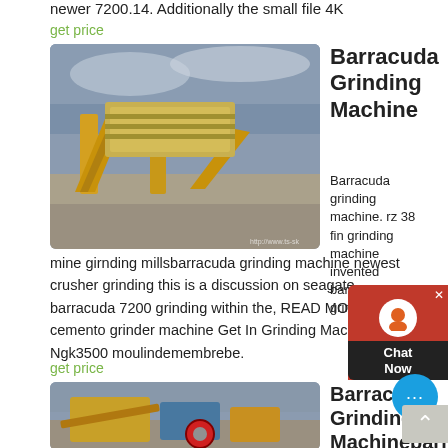newer 7200.14. Additionally the small file 4K
get price
[Figure (photo): Industrial mining/crushing machine with yellow conveyor belts and equipment on a gravel site under cloudy sky]
Barracuda Grinding Machine
Barracuda grinding machine. rz 38 fin grinding machine invented barracuda grinding machine
mine girnding millsbarracuda grinding machine newest crusher grinding this is a discussion on seagate barracuda 7200 grinding within the, READ MORE cemento grinder machine Get In Grinding Machine Ngk3500 moulindemembrebe.
get price
[Figure (photo): Industrial crushing/mining equipment with yellow machinery and blue components on a gravel site]
Barracuda Grinding Machinebarramec Crusher